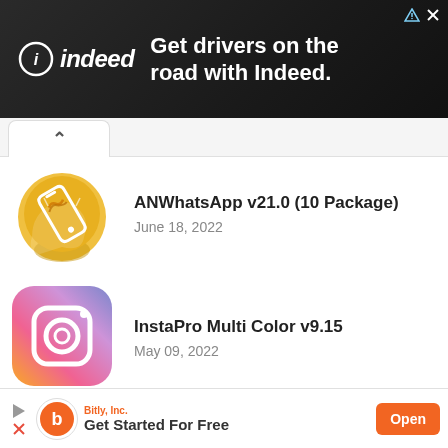[Figure (screenshot): Indeed advertisement banner: dark background with Indeed logo and text 'Get drivers on the road with Indeed.']
[Figure (illustration): Collapse/chevron-up tab button]
ANWhatsApp v21.0 (10 Package) - June 18, 2022
InstaPro Multi Color v9.15 - May 09, 2022
Home › Whatsapp Mods › GB Whatsapp HeyMods v21.00.0 Release
[Figure (screenshot): Bitly advertisement banner at bottom: 'Get Started For Free' with Open button]
Abou
d ? |